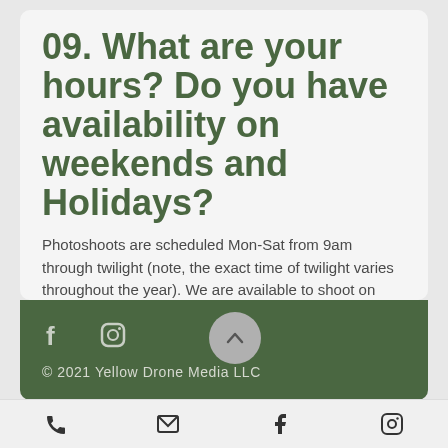09. What are your hours? Do you have availability on weekends and Holidays?
Photoshoots are scheduled Mon-Sat from 9am through twilight (note, the exact time of twilight varies throughout the year). We are available to shoot on most Holidays throughout the year with the exception of Thanksgiving, Christmas and New Years.
© 2021 Yellow Drone Media LLC